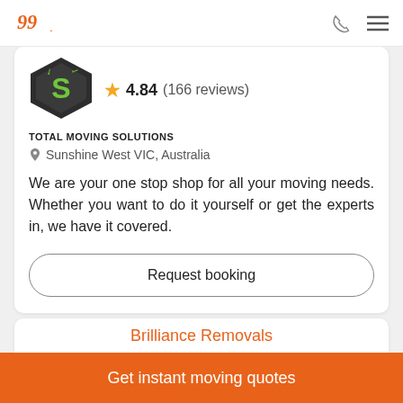logo | phone icon | menu icon
[Figure (logo): Total Moving Solutions company logo - dark diamond shape with green S letter]
4.84 (166 reviews)
TOTAL MOVING SOLUTIONS
Sunshine West VIC, Australia
We are your one stop shop for all your moving needs. Whether you want to do it yourself or get the experts in, we have it covered.
Request booking
Brilliance Removals
Get instant moving quotes